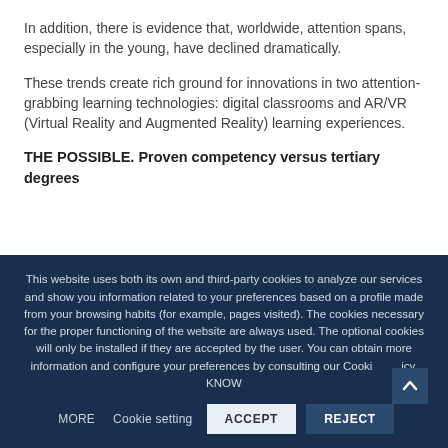In addition, there is evidence that, worldwide, attention spans, especially in the young, have declined dramatically.
These trends create rich ground for innovations in two attention-grabbing learning technologies: digital classrooms and AR/VR (Virtual Reality and Augmented Reality) learning experiences.
THE POSSIBLE. Proven competency versus tertiary degrees
This website uses both its own and third-party cookies to analyze our services and show you information related to your preferences based on a profile made from your browsing habits (for example, pages visited). The cookies necessary for the proper functioning of the website are always used. The optional cookies will only be installed if they are accepted by the user. You can obtain more information and configure your preferences by consulting our Cookie Policy. KNOW MORE